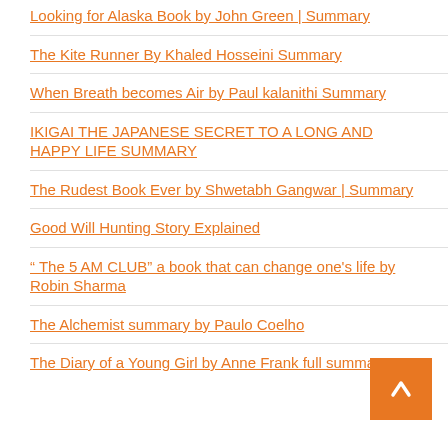Looking for Alaska Book by John Green | Summary
The Kite Runner By Khaled Hosseini Summary
When Breath becomes Air by Paul kalanithi Summary
IKIGAI THE JAPANESE SECRET TO A LONG AND HAPPY LIFE SUMMARY
The Rudest Book Ever by Shwetabh Gangwar | Summary
Good Will Hunting Story Explained
“ The 5 AM CLUB” a book that can change one's life by Robin Sharma
The Alchemist summary by Paulo Coelho
The Diary of a Young Girl by Anne Frank full summary